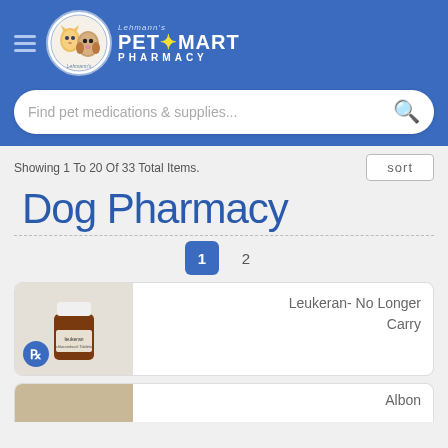[Figure (logo): Lehmann's PetSmart Pharmacy logo with cartoon dog and cat in a circle, blue background with PetSMART PHARMACY text]
Find pet medications & supplies...
Showing 1 To 20 Of 33 Total Items.
Dog Pharmacy
1  2
Leukeran- No Longer Carry
Albon